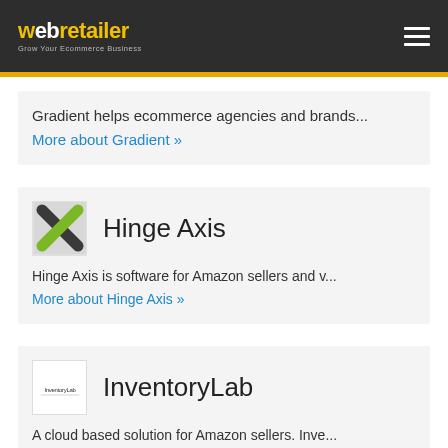webretailer — Grow Your Ecommerce Business
Gradient helps ecommerce agencies and brands...
More about Gradient »
Hinge Axis
Hinge Axis is software for Amazon sellers and v...
More about Hinge Axis »
InventoryLab
A cloud based solution for Amazon sellers. Inve...